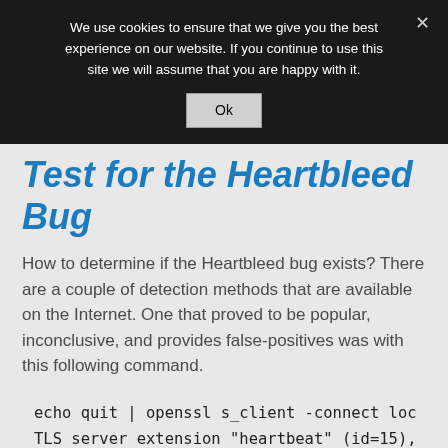We use cookies to ensure that we give you the best experience on our website. If you continue to use this site we will assume that you are happy with it.
Test for the Heartbleed Bug
How to determine if the Heartbleed bug exists? There are a couple of detection methods that are available on the Internet. One that proved to be popular, inconclusive, and provides false-positives was with this following command.
echo quit | openssl s_client -connect loc
TLS server extension "heartbeat" (id=15),
The command, when issued with an incorrect value or